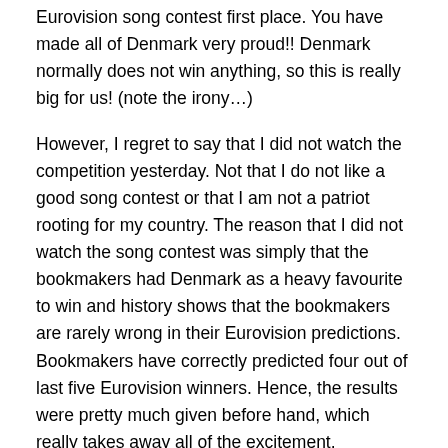Eurovision song contest first place. You have made all of Denmark very proud!! Denmark normally does not win anything, so this is really big for us! (note the irony…)
However, I regret to say that I did not watch the competition yesterday. Not that I do not like a good song contest or that I am not a patriot rooting for my country. The reason that I did not watch the song contest was simply that the bookmakers had Denmark as a heavy favourite to win and history shows that the bookmakers are rarely wrong in their Eurovision predictions. Bookmakers have correctly predicted four out of last five Eurovision winners. Hence, the results were pretty much given before hand, which really takes away all of the excitement.
I do, however, hope that every central banker out there